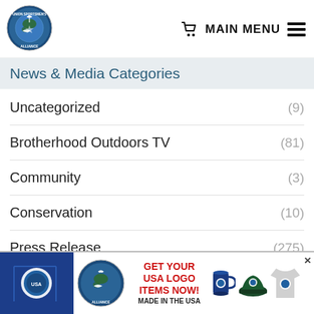[Figure (logo): Union Sportsmen's Alliance circular logo with bird and fish on globe]
MAIN MENU
News & Media Categories
Uncategorized (9)
Brotherhood Outdoors TV (81)
Community (3)
Conservation (10)
Press Release (275)
Conservation News (162)
Articles (1218)
Hunting (650)
[Figure (infographic): Advertisement banner: GET YOUR USA LOGO ITEMS NOW! MADE IN THE USA — showing Union Sportsmen's Alliance logo, mug, hat, and t-shirt]